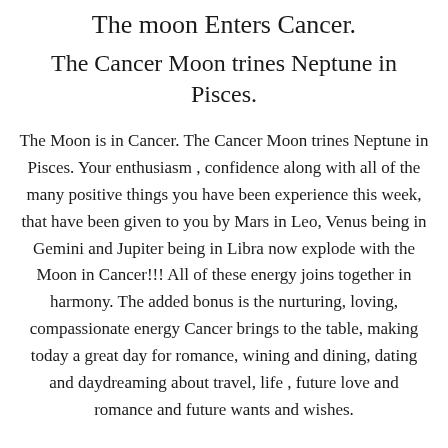The moon Enters Cancer.
The Cancer Moon trines Neptune in Pisces.
The Moon is in Cancer. The Cancer Moon trines Neptune in Pisces. Your enthusiasm , confidence along with all of the many positive things you have been experience this week, that have been given to you by Mars in Leo, Venus being in Gemini and Jupiter being in Libra now explode with the Moon in Cancer!!! All of these energy joins together in harmony. The added bonus is the nurturing, loving, compassionate energy Cancer brings to the table, making today a great day for romance, wining and dining, dating and daydreaming about travel, life , future love and romance and future wants and wishes.